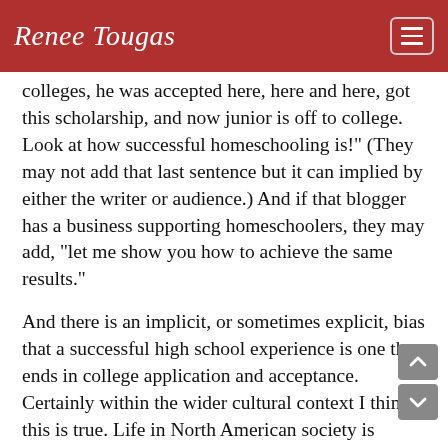Renee Tougas
colleges, he was accepted here, here and here, got this scholarship, and now junior is off to college. Look at how successful homeschooling is!" (They may not add that last sentence but it can implied by either the writer or audience.) And if that blogger has a business supporting homeschoolers, they may add, "let me show you how to achieve the same results."
And there is an implicit, or sometimes explicit, bias that a successful high school experience is one that ends in college application and acceptance. Certainly within the wider cultural context I think this is true. Life in North American society is supposed to proceed a certain way and it's ok, maybe, to homeschool